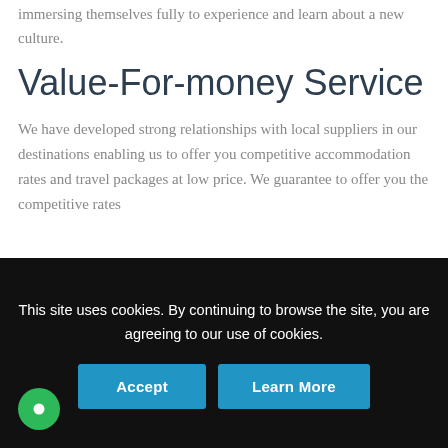immersing themselves fully to experience and learn about a new culture.
Value-For-money Service
We have developed strong relationships with local suppliers in our destinations enabling us to offer you competitive accommodation rates and travel packages at low price. We guarantee to offer you the competitive rates
This site uses cookies. By continuing to browse the site, you are agreeing to our use of cookies.
Accept
Learn More